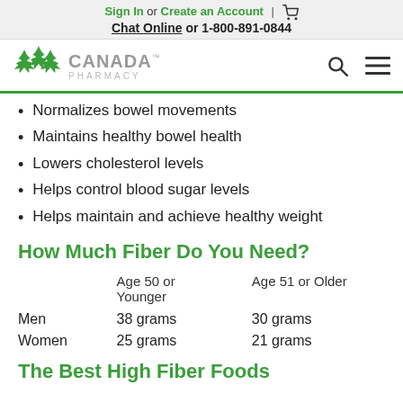Sign In or Create an Account | [cart] Chat Online or 1-800-891-0844
[Figure (logo): Canada Pharmacy logo with maple leaves, search icon, and menu icon]
Normalizes bowel movements
Maintains healthy bowel health
Lowers cholesterol levels
Helps control blood sugar levels
Helps maintain and achieve healthy weight
How Much Fiber Do You Need?
|  | Age 50 or Younger | Age 51 or Older |
| --- | --- | --- |
| Men | 38 grams | 30 grams |
| Women | 25 grams | 21 grams |
The Best High Fiber Foods